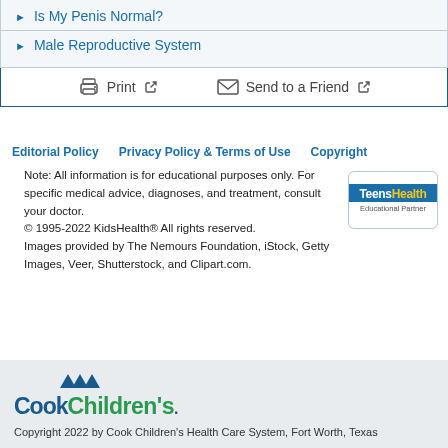Is My Penis Normal?
Male Reproductive System
Print   Send to a Friend
Editorial Policy   Privacy Policy & Terms of Use   Copyright
Note: All information is for educational purposes only. For specific medical advice, diagnoses, and treatment, consult your doctor.
© 1995-2022 KidsHealth® All rights reserved.
Images provided by The Nemours Foundation, iStock, Getty Images, Veer, Shutterstock, and Clipart.com.
[Figure (logo): TeensHealth Educational Partner logo]
[Figure (logo): Cook Children's logo with three blue triangles above text]
Copyright 2022 by Cook Children's Health Care System, Fort Worth, Texas